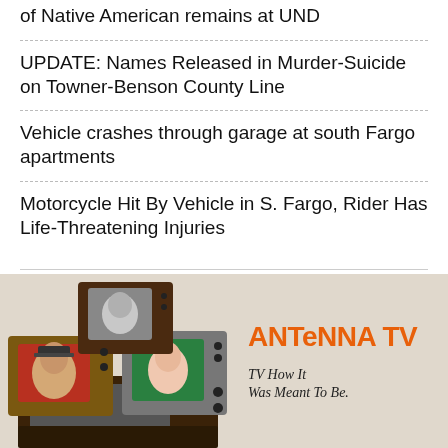of Native American remains at UND
UPDATE: Names Released in Murder-Suicide on Towner-Benson County Line
Vehicle crashes through garage at south Fargo apartments
Motorcycle Hit By Vehicle in S. Fargo, Rider Has Life-Threatening Injuries
[Figure (photo): Advertisement for Antenna TV showing a stack of vintage television sets with faces of classic TV personalities on the screens. Text reads 'ANTENNA TV' in orange and 'TV How It Was Meant To Be.' in serif font.]